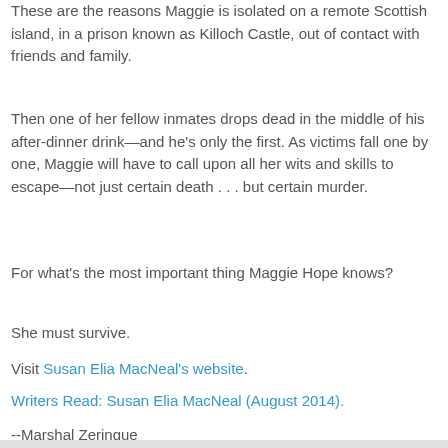These are the reasons Maggie is isolated on a remote Scottish island, in a prison known as Killoch Castle, out of contact with friends and family.
Then one of her fellow inmates drops dead in the middle of his after-dinner drink—and he's only the first. As victims fall one by one, Maggie will have to call upon all her wits and skills to escape—not just certain death . . . but certain murder.
For what's the most important thing Maggie Hope knows?
She must survive.
Visit Susan Elia MacNeal's website.
Writers Read: Susan Elia MacNeal (August 2014).
--Marshal Zeringue